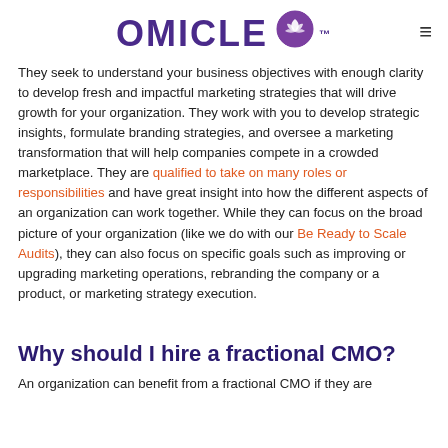OMICLE
They seek to understand your business objectives with enough clarity to develop fresh and impactful marketing strategies that will drive growth for your organization. They work with you to develop strategic insights, formulate branding strategies, and oversee a marketing transformation that will help companies compete in a crowded marketplace. They are qualified to take on many roles or responsibilities and have great insight into how the different aspects of an organization can work together. While they can focus on the broad picture of your organization (like we do with our Be Ready to Scale Audits), they can also focus on specific goals such as improving or upgrading marketing operations, rebranding the company or a product, or marketing strategy execution.
Why should I hire a fractional CMO?
An organization can benefit from a fractional CMO if they are